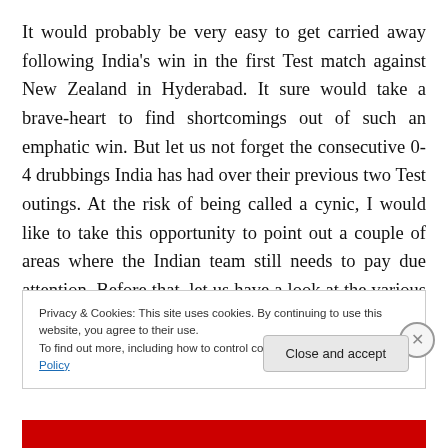It would probably be very easy to get carried away following India's win in the first Test match against New Zealand in Hyderabad. It sure would take a brave-heart to find shortcomings out of such an emphatic win. But let us not forget the consecutive 0-4 drubbings India has had over their previous two Test outings. At the risk of being called a cynic, I would like to take this opportunity to point out a couple of areas where the Indian team still needs to pay due attention. Before that, let us have a look at the various positives that can be drawn out of this victory.
Privacy & Cookies: This site uses cookies. By continuing to use this website, you agree to their use.
To find out more, including how to control cookies, see here: Cookie Policy